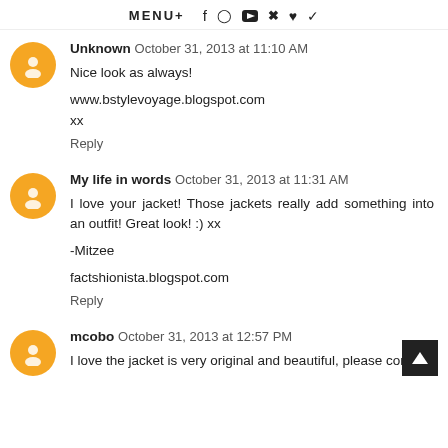MENU+ [social icons: facebook, instagram, youtube, pinterest, heart, twitter]
Unknown October 31, 2013 at 11:10 AM
Nice look as always!

www.bstylevoyage.blogspot.com
xx

Reply
My life in words October 31, 2013 at 11:31 AM
I love your jacket! Those jackets really add something into an outfit! Great look! :) xx

-Mitzee

factshionista.blogspot.com
Reply
mcobo October 31, 2013 at 12:57 PM
I love the jacket is very original and beautiful, please come